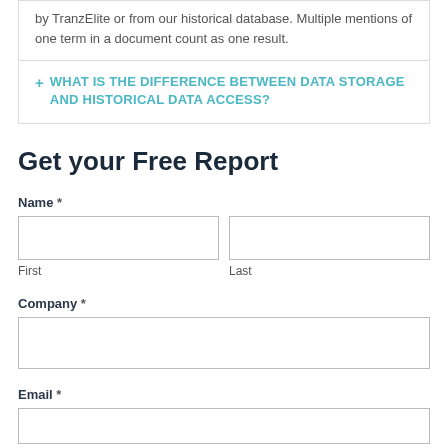by TranzElite or from our historical database. Multiple mentions of one term in a document count as one result.
+ WHAT IS THE DIFFERENCE BETWEEN DATA STORAGE AND HISTORICAL DATA ACCESS?
Get your Free Report
Name *
First
Last
Company *
Email *